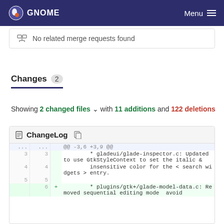GNOME  Menu
No related merge requests found
Changes 2
Showing 2 changed files with 11 additions and 122 deletions
| old | new | + | code |
| --- | --- | --- | --- |
| ... | ... |  | @@ -3,6 +3,9 @@ |
| 3 | 3 |  |         * gladeui/glade-inspector.c: Updated to use GtkStyleContext to set the italic & |
| 4 | 4 |  |         insensitive color for the < search widgets > entry. |
| 5 | 5 |  |  |
|  | 6 | + |         * plugins/gtk+/glade-model-data.c: Removed sequential editing mode  avoid |